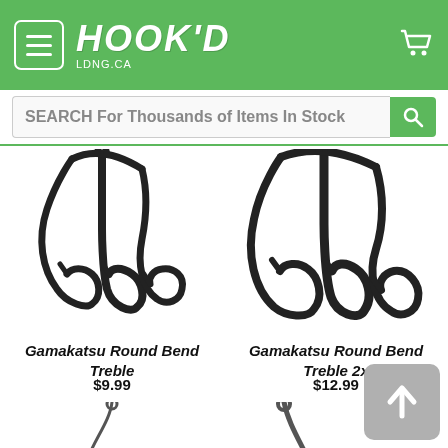[Figure (screenshot): Hook'd fishing store website header with green background, menu button, logo 'HOOK'D LDNG.CA', and cart icon]
SEARCH For Thousands of Items In Stock
[Figure (photo): Gamakatsu Round Bend Treble fishing hook, dark/black finish, treble hook with three points]
Gamakatsu Round Bend Treble
$9.99
[Figure (photo): Gamakatsu Round Bend Treble 2x fishing hook, dark/black finish, larger treble hook with three points]
Gamakatsu Round Bend Treble 2x
$12.99
[Figure (photo): Partial view of fishing hook at bottom left]
[Figure (photo): Partial view of fishing hook at bottom right]
[Figure (other): Back to top scroll button with upward arrow icon]